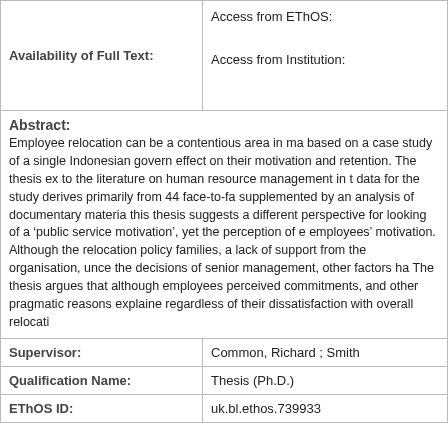| Availability of Full Text: | Access from EThOS:

Access from Institution: |
| Abstract: |  |
|  | Employee relocation can be a contentious area in ma based on a case study of a single Indonesian govern effect on their motivation and retention. The thesis ex to the literature on human resource management in t data for the study derives primarily from 44 face-to-fa supplemented by an analysis of documentary materia this thesis suggests a different perspective for looking of a ‘public service motivation’, yet the perception of employees’ motivation. Although the relocation policy families, a lack of support from the organisation, unce the decisions of senior management, other factors ha The thesis argues that although employees perceived commitments, and other pragmatic reasons explaine regardless of their dissatisfaction with overall relocati |
| Supervisor: | Common, Richard ; Smith |
| Qualification Name: | Thesis (Ph.D.) |
| EThOS ID: | uk.bl.ethos.739933 |